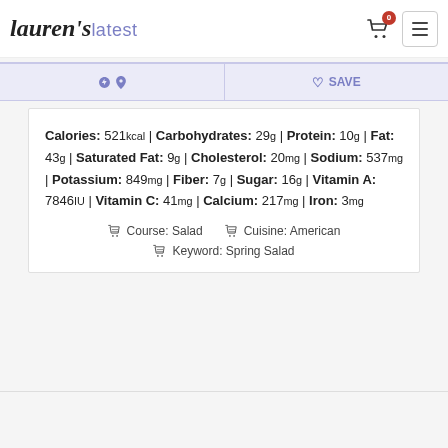lauren's latest
Calories: 521kcal | Carbohydrates: 29g | Protein: 10g | Fat: 43g | Saturated Fat: 9g | Cholesterol: 20mg | Sodium: 537mg | Potassium: 849mg | Fiber: 7g | Sugar: 16g | Vitamin A: 7846IU | Vitamin C: 41mg | Calcium: 217mg | Iron: 3mg
Course: Salad | Cuisine: American | Keyword: Spring Salad